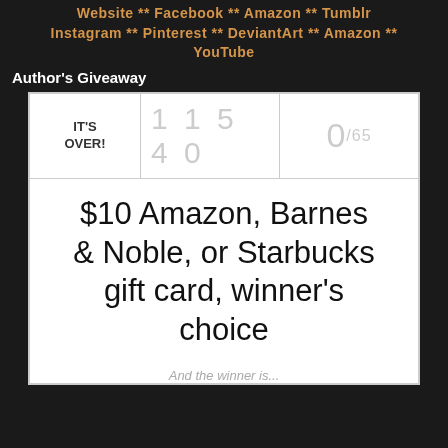Website ** Facebook ** Amazon ** Tumblr Instagram ** Pinterest ** DeviantArt ** Amazon ** YouTube
Author's Giveaway
[Figure (other): Giveaway widget showing IT'S OVER! with entry count 11540 and score 0/65, prize: $10 Amazon, Barnes & Noble, or Starbucks gift card, winner's choice. And the winner is...]